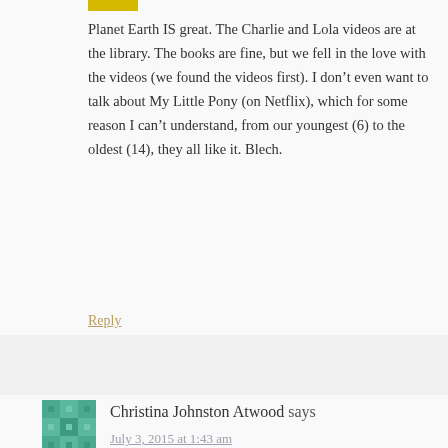Planet Earth IS great. The Charlie and Lola videos are at the library. The books are fine, but we fell in the love with the videos (we found the videos first). I don't even want to talk about My Little Pony (on Netflix), which for some reason I can't understand, from our youngest (6) to the oldest (14), they all like it. Blech.
Reply
Christina Johnston Atwood says
July 3, 2015 at 1:43 am